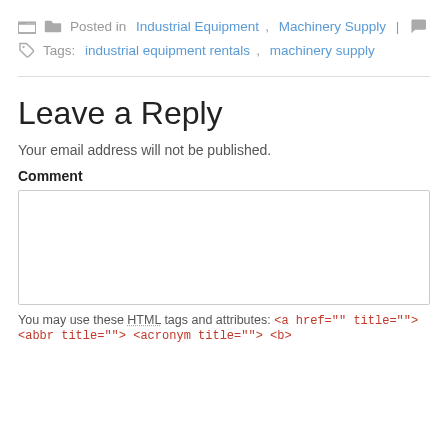Posted in Industrial Equipment, Machinery Supply |
Tags: industrial equipment rentals, machinery supply
Leave a Reply
Your email address will not be published.
Comment
You may use these HTML tags and attributes: <a href="" title=""> <abbr title=""> <acronym title=""> <b>